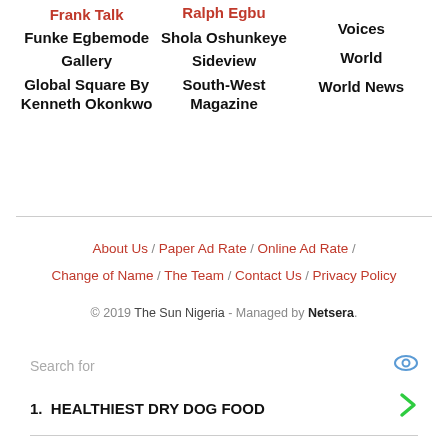Ralph Egbu
Frank Talk
Shola Oshunkeye
Voices
Funke Egbemode
Sideview
World
Gallery
South-West Magazine
World News
Global Square By Kenneth Okonkwo
About Us / Paper Ad Rate / Online Ad Rate / Change of Name / The Team / Contact Us / Privacy Policy
© 2019 The Sun Nigeria - Managed by Netsera.
Search for
1.  HEALTHIEST DRY DOG FOOD
2.  DIE BESTEN BANKEN